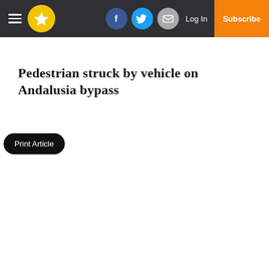Navigation bar with hamburger menu, star logo, Facebook, Twitter, email icons, Log In, and Subscribe button
Pedestrian struck by vehicle on Andalusia bypass
Print Article